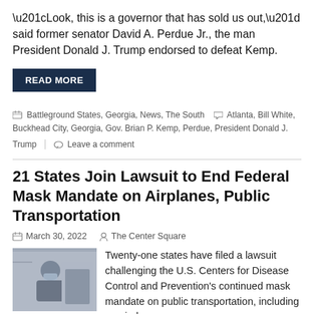“Look, this is a governor that has sold us out,” said former senator David A. Perdue Jr., the man President Donald J. Trump endorsed to defeat Kemp.
READ MORE
Battleground States, Georgia, News, The South   Atlanta, Bill White, Buckhead City, Georgia, Gov. Brian P. Kemp, Perdue, President Donald J. Trump   Leave a comment
21 States Join Lawsuit to End Federal Mask Mandate on Airplanes, Public Transportation
March 30, 2022   The Center Square
[Figure (photo): Photo of a person wearing a mask on public transportation]
Twenty-one states have filed a lawsuit challenging the U.S. Centers for Disease Control and Prevention’s continued mask mandate on public transportation, including on airplanes.